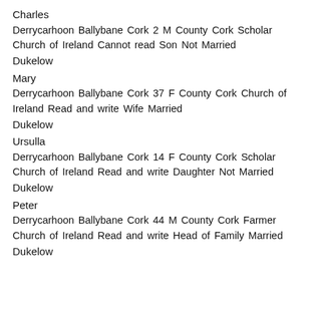Charles
Derrycarhoon Ballybane Cork 2 M County Cork Scholar Church of Ireland Cannot read Son Not Married
Dukelow
Mary
Derrycarhoon Ballybane Cork 37 F County Cork Church of Ireland Read and write Wife Married
Dukelow
Ursulla
Derrycarhoon Ballybane Cork 14 F County Cork Scholar Church of Ireland Read and write Daughter Not Married
Dukelow
Peter
Derrycarhoon Ballybane Cork 44 M County Cork Farmer Church of Ireland Read and write Head of Family Married
Dukelow